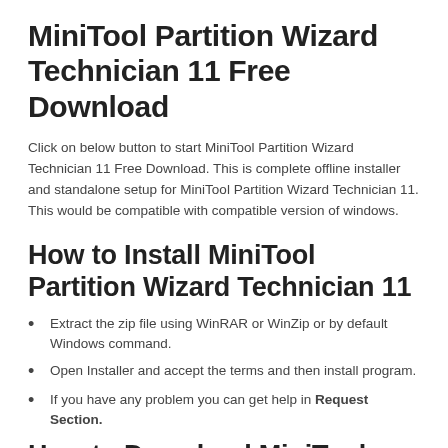MiniTool Partition Wizard Technician 11 Free Download
Click on below button to start MiniTool Partition Wizard Technician 11 Free Download. This is complete offline installer and standalone setup for MiniTool Partition Wizard Technician 11. This would be compatible with compatible version of windows.
How to Install MiniTool Partition Wizard Technician 11
Extract the zip file using WinRAR or WinZip or by default Windows command.
Open Installer and accept the terms and then install program.
If you have any problem you can get help in Request Section.
How to Download MiniTool Partition Wizard Technician 11